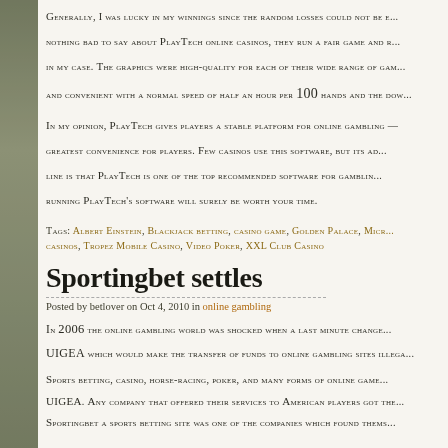Generally, I was lucky in my winnings since the random losses could not be e... nothing bad to say about PlayTech online casinos, they run a fair game and r... in my case. The graphics were high-quality for each of their wide range of gam... and convenient with a normal speed of half an hour per 100 hands and the dow...
In my opinion, PlayTech gives players a stable platform for online gambling — greatest convenience for players. Few casinos use this software, but its ad... line is that PlayTech is one of the top recommended software for gamblin... running PlayTech's software will surely be worth your time.
Tags: Albert Einstein, Blackjack betting, casino game, Golden Palace, Micr... casinos, Tropez Mobile Casino, Video Poker, XXL Club Casino
Sportingbet settles
Posted by betlover on Oct 4, 2010 in online gambling
In 2006 the online gambling world was shocked when a last minute change... UIGEA which would make the transfer of funds to online gambling sites illega...
Sports betting, casino, horse-racing, poker, and many forms of online game... UIGEA. Any company that offered their services to American players got the... Sportingbet a sports betting site was one of the companies which found thems...